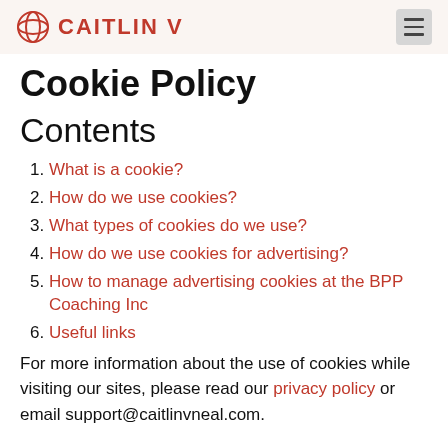CAITLIN V
Cookie Policy
Contents
1. What is a cookie?
2. How do we use cookies?
3. What types of cookies do we use?
4. How do we use cookies for advertising?
5. How to manage advertising cookies at the BPP Coaching Inc
6. Useful links
For more information about the use of cookies while visiting our sites, please read our privacy policy or email support@caitlinvneal.com.